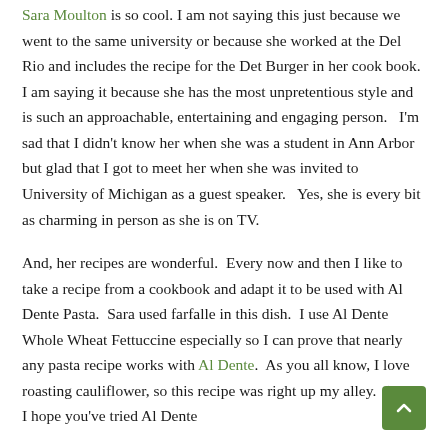Sara Moulton is so cool. I am not saying this just because we went to the same university or because she worked at the Del Rio and includes the recipe for the Det Burger in her cook book. I am saying it because she has the most unpretentious style and is such an approachable, entertaining and engaging person. I'm sad that I didn't know her when she was a student in Ann Arbor but glad that I got to meet her when she was invited to University of Michigan as a guest speaker. Yes, she is every bit as charming in person as she is on TV.
And, her recipes are wonderful. Every now and then I like to take a recipe from a cookbook and adapt it to be used with Al Dente Pasta. Sara used farfalle in this dish. I use Al Dente Whole Wheat Fettuccine especially so I can prove that nearly any pasta recipe works with Al Dente. As you all know, I love roasting cauliflower, so this recipe was right up my alley. (Sara, I hope you've tried Al Dente